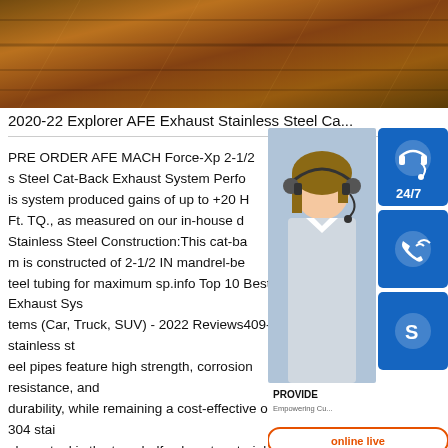[Figure (photo): Close-up photo of steel/metal sheets or pipes with diagonal rust-colored texture]
2020-22 Explorer AFE Exhaust Stainless Steel Ca...
PRE ORDER AFE MACH Force-Xp 2-1/2 s Steel Cat-Back Exhaust System Perfo is system produced gains of up to +20 H Ft. TQ., as measured on our in-house d Stainless Steel Construction:This cat-ba m is constructed of 2-1/2 IN mandrel-be teel tubing for maximum sp.info Top 10 Best Exhaust Systems (Car, Truck, SUV) - 2022 Reviews409-L stainless steel pipes feature high strength, corrosion resistance, and durability, while remaining a cost-effective option. 304 stainless steel is the top-shelf exhaust material. 304 has the highest nickel and chromium concentration, and offers the
[Figure (infographic): Customer service overlay widget showing a woman with headset, 24/7 button, phone icon button, Skype icon button, PROVIDE Empowering Cu... text, and orange online live button]